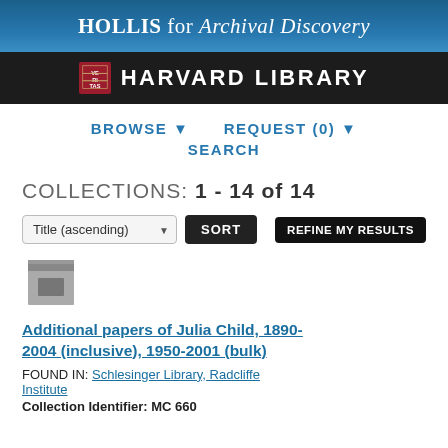HOLLIS for Archival Discovery
HARVARD LIBRARY
BROWSE ▼   REQUEST (0) ▼   SEARCH
COLLECTIONS: 1 - 14 of 14
Title (ascending)  SORT  REFINE MY RESULTS
[Figure (illustration): Archive box icon]
Additional papers of Julia Child, 1890-2004 (inclusive), 1950-2001 (bulk)
FOUND IN: Schlesinger Library, Radcliffe Institute
Collection Identifier: MC 660